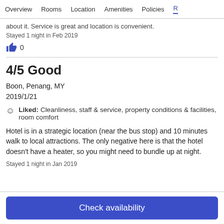Overview  Rooms  Location  Amenities  Policies  R
about it. Service is great and location is convenient.
Stayed 1 night in Feb 2019
0
4/5 Good
Boon, Penang, MY
2019/1/21
Liked: Cleanliness, staff & service, property conditions & facilities, room comfort
Hotel is in a strategic location (near the bus stop) and 10 minutes walk to local attractions. The only negative here is that the hotel doesn't have a heater, so you might need to bundle up at night.
Stayed 1 night in Jan 2019
Check availability